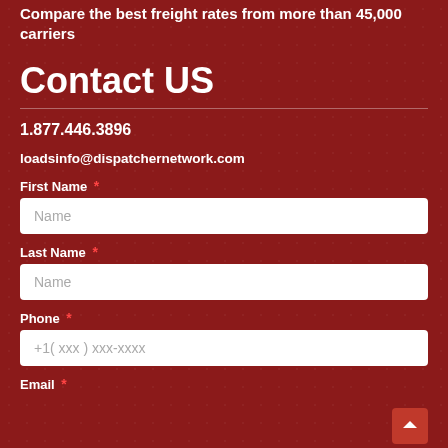Compare the best freight rates from more than 45,000 carriers
Contact US
1.877.446.3896
loadsinfo@dispatchernetwork.com
First Name *
Name
Last Name *
Name
Phone *
+1( xxx ) xxx-xxxx
Email *